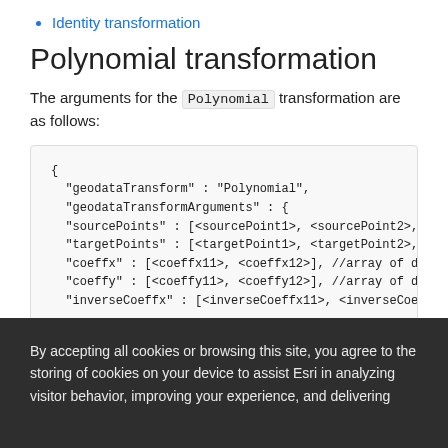Identity transformation
Polynomial transformation
The arguments for the Polynomial transformation are as follows:
{
  "geodataTransform" : "Polynomial",
  "geodataTransformArguments" : {
  "sourcePoints" : [<sourcePoint1>, <sourcePoint2>, <s
  "targetPoints" : [<targetPoint1>, <targetPoint2>, <t
  "coeffx" : [<coeffx11>, <coeffx12>], //array of doub
  "coeffy" : [<coeffy11>, <coeffy12>], //array of doub
  "inverseCoeffx" : [<inverseCoeffx11>, <inverseCoeffx
By accepting all cookies or browsing this site, you agree to the storing of cookies on your device to assist Esri in analyzing visitor behavior, improving your experience, and delivering